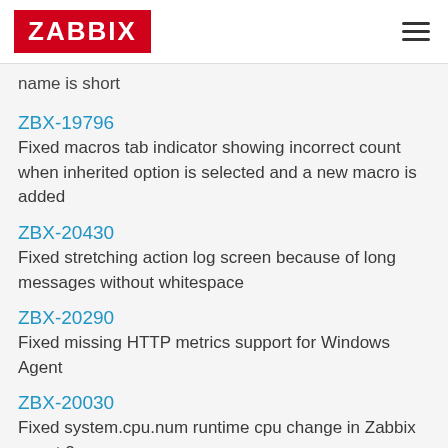ZABBIX
name is short
ZBX-19796
Fixed macros tab indicator showing incorrect count when inherited option is selected and a new macro is added
ZBX-20430
Fixed stretching action log screen because of long messages without whitespace
ZBX-20290
Fixed missing HTTP metrics support for Windows Agent
ZBX-20030
Fixed system.cpu.num runtime cpu change in Zabbix agent 2
ZBX-20330